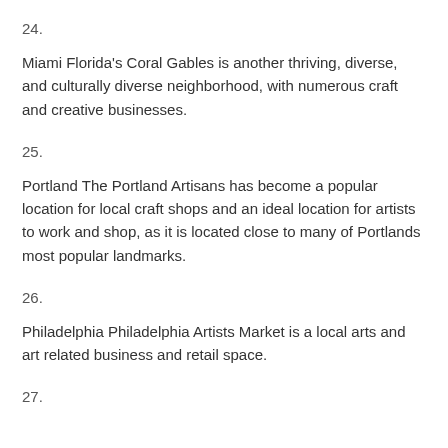24.
Miami Florida's Coral Gables is another thriving, diverse, and culturally diverse neighborhood, with numerous craft and creative businesses.
25.
Portland The Portland Artisans has become a popular location for local craft shops and an ideal location for artists to work and shop, as it is located close to many of Portlands most popular landmarks.
26.
Philadelphia Philadelphia Artists Market is a local arts and art related business and retail space.
27.